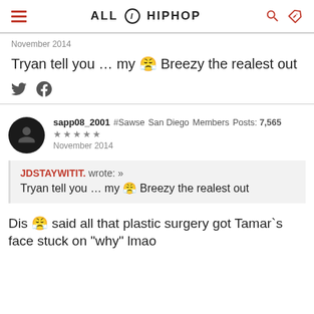ALL HIP HOP
November 2014
Tryan tell you … my 😡 Breezy the realest out
sapp08_2001 #Sawse San Diego Members Posts: 7,565 ★★★★★ November 2014
JDSTAYWITIT. wrote: » Tryan tell you … my 😡 Breezy the realest out
Dis 😡 said all that plastic surgery got Tamar`s face stuck on "why" lmao